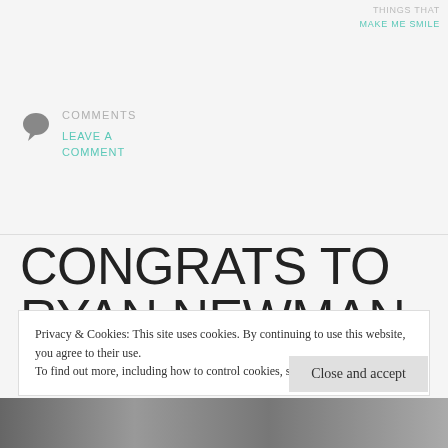THINGS THAT
MAKE ME SMILE
COMMENTS
LEAVE A
COMMENT
CONGRATS TO RYAN NEWMAN & SHR ON THE BRICKYARD 400!!
Privacy & Cookies: This site uses cookies. By continuing to use this website, you agree to their use.
To find out more, including how to control cookies, see here: Cookie Policy
Close and accept
[Figure (photo): Bottom photo strip showing a crowd/event scene, partially visible]